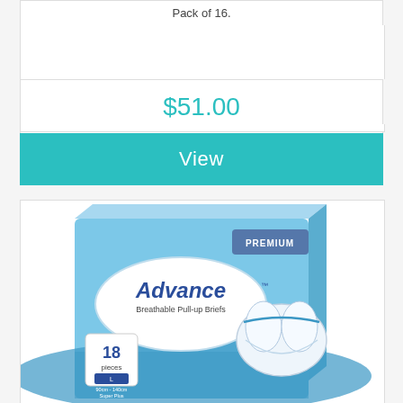Pack of 16.
$51.00
View
[Figure (photo): Advance Breathable Pull-up Briefs product package. Blue box with PREMIUM badge in upper right corner. White oval logo with 'Advance' brand name and 'Breathable Pull-up Briefs' subtitle. Shows '18 pieces' and size 'L' (90cm-140cm, Super Plus). Product image of white pull-up briefs on right side of box.]